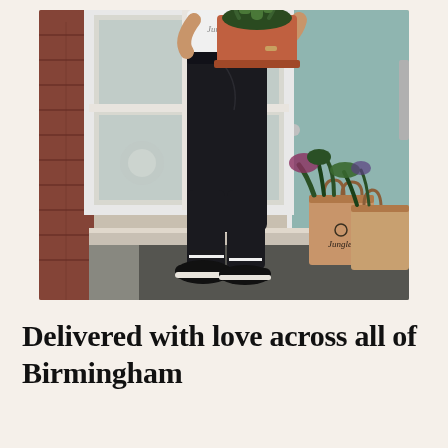[Figure (photo): A woman standing with her back to camera, wearing a white t-shirt and black skinny jeans, holding a terracotta pot with a plant. She stands in front of a light teal/mint colored door with white frame. Two brown paper bags branded 'Jungle' filled with plants sit on the doorstep beside her.]
Delivered with love across all of Birmingham